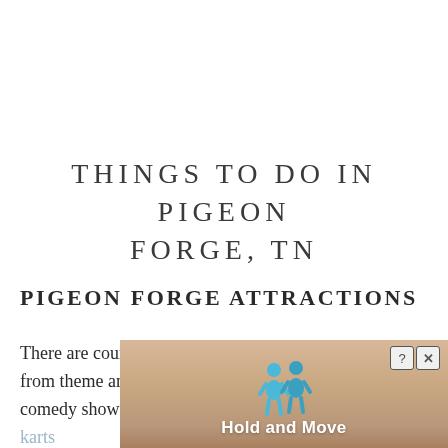THINGS TO DO IN PIGEON FORGE, TN
PIGEON FORGE ATTRACTIONS
There are countless attractions in Pigeon Forge ranging from theme and water parks to shopping, museums, comedy shows, go-karts … in the a… d
[Figure (other): Partially visible advertisement overlay at the bottom of the page with a 'Hold and Move' label, two cartoon human figures icons, a question mark button and an X close button, over a striped beige/tan background.]